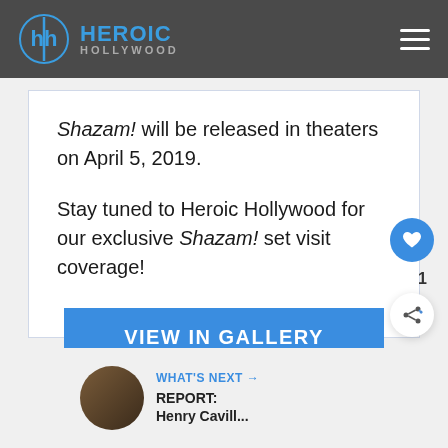HEROIC HOLLYWOOD
Shazam! will be released in theaters on April 5, 2019.
Stay tuned to Heroic Hollywood for our exclusive Shazam! set visit coverage!
VIEW IN GALLERY
1
WHAT'S NEXT → REPORT: Henry Cavill...